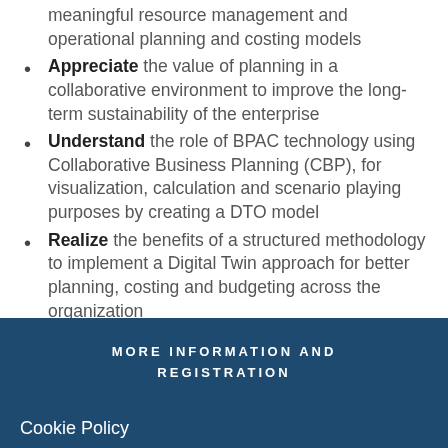meaningful resource management and operational planning and costing models
Appreciate the value of planning in a collaborative environment to improve the long-term sustainability of the enterprise
Understand the role of BPAC technology using Collaborative Business Planning (CBP), for visualization, calculation and scenario playing purposes by creating a DTO model
Realize the benefits of a structured methodology to implement a Digital Twin approach for better planning, costing and budgeting across the organization
MORE INFORMATION AND REGISTRATION
Cookie Policy